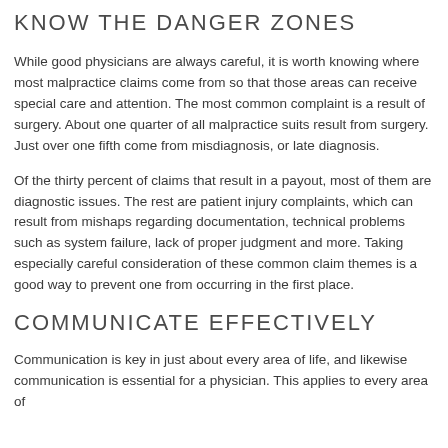KNOW THE DANGER ZONES
While good physicians are always careful, it is worth knowing where most malpractice claims come from so that those areas can receive special care and attention.  The most common complaint is a result of surgery.  About one quarter of all malpractice suits result from surgery.  Just over one fifth come from misdiagnosis, or late diagnosis.
Of the thirty percent of claims that result in a payout, most of them are diagnostic issues.  The rest are patient injury complaints, which can result from mishaps regarding documentation, technical problems such as system failure, lack of proper judgment and more.  Taking especially careful consideration of these common claim themes is a good way to prevent one from occurring in the first place.
COMMUNICATE EFFECTIVELY
Communication is key in just about every area of life, and likewise communication is essential for a physician.  This applies to every area of